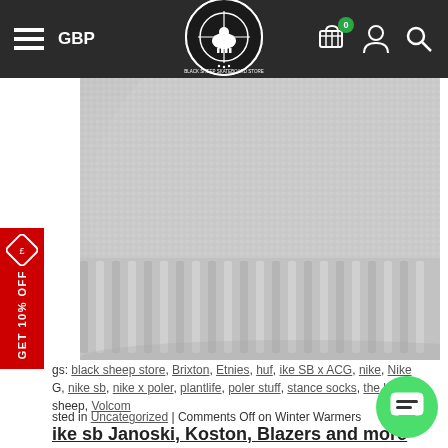GBP | Black Sheep Skateboard Store | 0 items in cart
[Figure (photo): Close-up photo of a grey knit beanie hat/winter warmer product, showing the ribbed knit texture of the lower portion of the hat on a white background]
Tags: black sheep store, Brixton, Etnies, huf, ike SB x ACG, nike, Nike G, nike sb, nike x poler, plantlife, poler stuff, stance socks, the black sheep, Volcom
Posted in Uncategorized | Comments Off on Winter Warmers
Nike sb Janoski, Koston, Blazers and more
Friday, September 6th, 2013
Huge range of Nike SB now available at Manchester's number 1 skate shop. We always carry the very latest from Nike SB including a wide variety of colourways from the popular Janoskis, Eric Koston, Blazers and loads more. Take a look at a few pictures below for a small taste of the Nike SB styles including a re-up of the limited Blazer Neck Face.